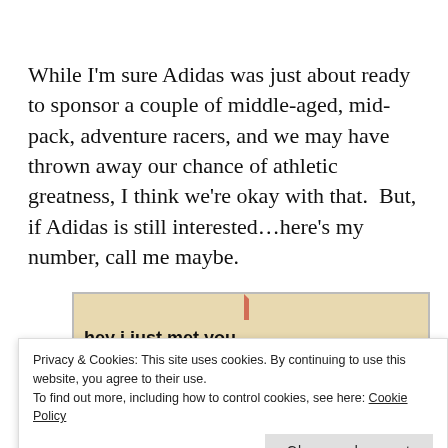While I'm sure Adidas was just about ready to sponsor a couple of middle-aged, mid-pack, adventure racers, and we may have thrown away our chance of athletic greatness, I think we're okay with that.  But, if Adidas is still interested…here's my number, call me maybe.
[Figure (illustration): Comic-style image with speech bubble. Left side shows text 'hey i just met you and this is cra-' and right side shows 'ENOUGH!!!' in large bold letters. Background is tan/beige.]
Privacy & Cookies: This site uses cookies. By continuing to use this website, you agree to their use.
To find out more, including how to control cookies, see here: Cookie Policy
Close and accept